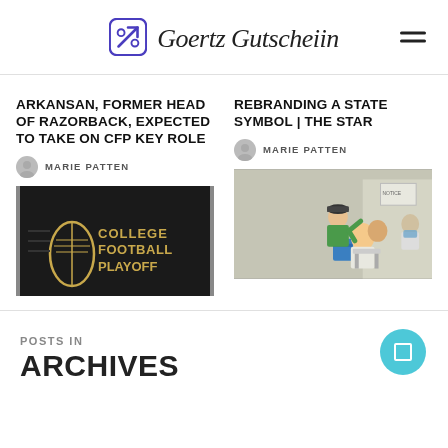Goertz Gutscheiin
ARKANSAN, FORMER HEAD OF RAZORBACK, EXPECTED TO TAKE ON CFP KEY ROLE
MARIE PATTEN
[Figure (photo): Dark background sign reading COLLEGE FOOTBALL PLAYOFF with a football icon]
REBRANDING A STATE SYMBOL | THE STAR
MARIE PATTEN
[Figure (photo): Outdoor scene with a man in green shirt getting a haircut, others visible in background]
POSTS IN
ARCHIVES